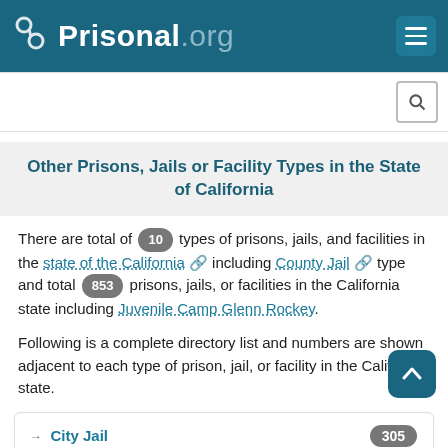Prisonal.org
Other Prisons, Jails or Facility Types in the State of California
There are total of 10 types of prisons, jails, and facilities in the state of the California including County Jail type and total 853 prisons, jails, or facilities in the California state including Juvenile Camp Glenn Rockey.
Following is a complete directory list and numbers are shown adjacent to each type of prison, jail, or facility in the California state.
City Jail 305